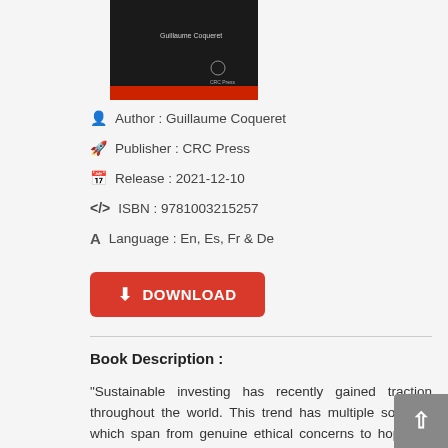[Figure (photo): Book cover with dark background, author name Guillaume Coqueret, CRC Press logo, and a red bar at the bottom]
Author : Guillaume Coqueret
Publisher : CRC Press
Release : 2021-12-10
ISBN : 9781003215257
Language : En, Es, Fr & De
DOWNLOAD
Book Description :
"Sustainable investing has recently gained traction throughout the world. This trend has multiple sources, which span from genuine ethical concerns to hopes of performance boosting, and also encompass risk